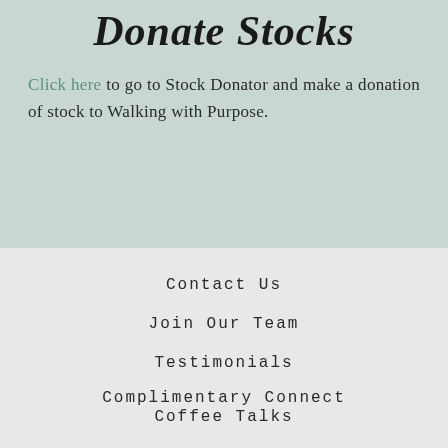Donate Stocks
Click here to go to Stock Donator and make a donation of stock to Walking with Purpose.
Contact Us
Join Our Team
Testimonials
Complimentary Connect Coffee Talks